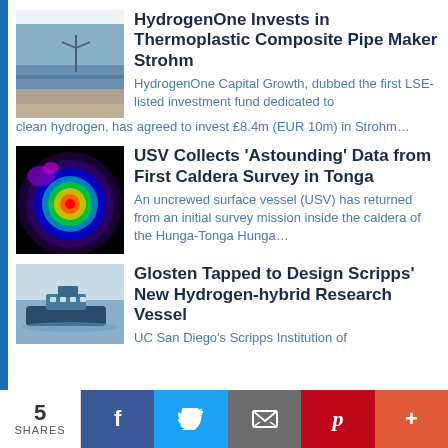[Figure (photo): Coastal/offshore scene used as thumbnail for HydrogenOne article]
HydrogenOne Invests in Thermoplastic Composite Pipe Maker Strohm
HydrogenOne Capital Growth, dubbed the first LSE-listed investment fund dedicated to clean hydrogen, has agreed to invest £8.4m (EUR 10m) in Strohm…
[Figure (photo): Colorful thermal/sonar map image used as thumbnail for USV Caldera article]
USV Collects 'Astounding' Data from First Caldera Survey in Tonga
An uncrewed surface vessel (USV) has returned from an initial survey mission inside the caldera of the Hunga-Tonga Hunga…
[Figure (photo): Research vessel at sea used as thumbnail for Glosten article]
Glosten Tapped to Design Scripps' New Hydrogen-hybrid Research Vessel
UC San Diego's Scripps Institution of
5 SHARES  f  Twitter  Email  Pinterest  +